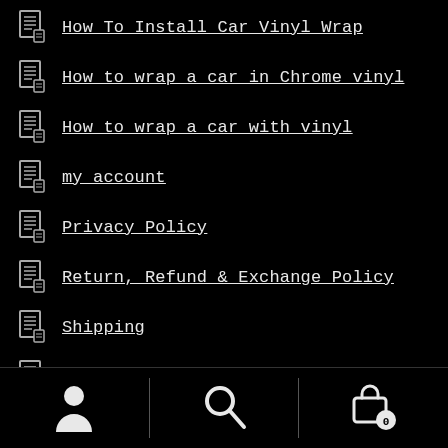How To Install Car Vinyl Wrap
How to wrap a car in Chrome vinyl
How to wrap a car with vinyl
my account
Privacy Policy
Return, Refund & Exchange Policy
Shipping
Shop
Terms & Conditions
Warranty
[Figure (other): Bottom navigation bar with user account icon, search icon, and shopping basket icon]